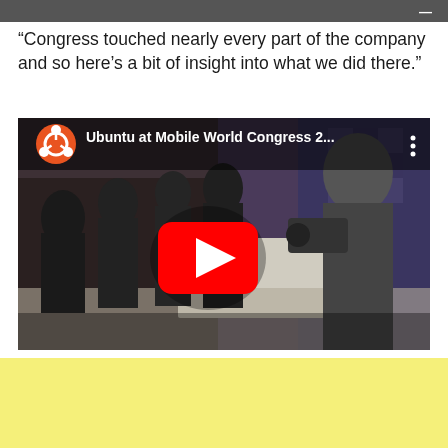—
“Congress touched nearly every part of the company and so here’s a bit of insight into what we did there.”
[Figure (screenshot): YouTube video thumbnail showing 'Ubuntu at Mobile World Congress 2...' with Ubuntu logo, play button, and photo of people at a trade show booth examining devices.]